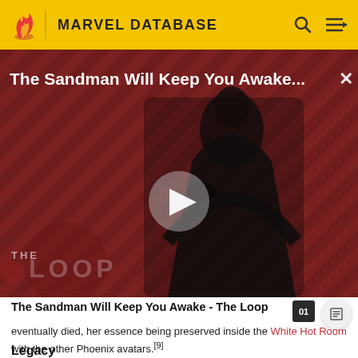MARVEL DATABASE
[Figure (screenshot): Video thumbnail for 'The Sandman Will Keep You Awake - The Loop' showing a dark figure in a black cloak against a red diagonal-striped background, with a play button in the center and 'THE LOOP' logo at the bottom left. Title text overlaid at top.]
The Sandman Will Keep You Awake - The Loop
eventually died, her essence being preserved inside the White Hot Room with the other Phoenix avatars.[9]
Legacy